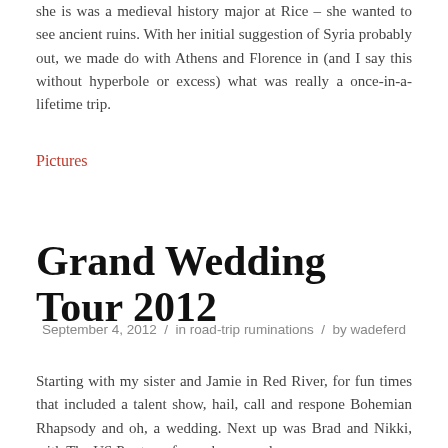she is was a medieval history major at Rice – she wanted to see ancient ruins. With her initial suggestion of Syria probably out, we made do with Athens and Florence in (and I say this without hyperbole or excess) what was really a once-in-a-lifetime trip.
Pictures
Grand Wedding Tour 2012
September 4, 2012 / in road-trip ruminations / by wadeferd
Starting with my sister and Jamie in Red River, for fun times that included a talent show, hail, call and respone Bohemian Rhapsody and oh, a wedding. Next up was Brad and Nikki, with The US Pro tour, foxes, bears, and